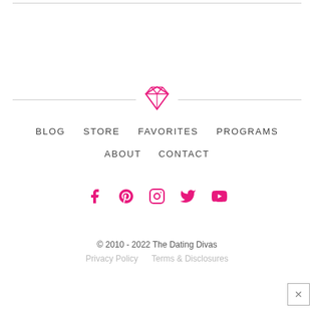[Figure (illustration): Horizontal divider lines with a pink diamond icon in the center]
BLOG   STORE   FAVORITES   PROGRAMS
ABOUT   CONTACT
[Figure (illustration): Row of pink social media icons: Facebook, Pinterest, Instagram, Twitter, YouTube]
© 2010 - 2022 The Dating Divas
Privacy Policy · Terms & Disclosures